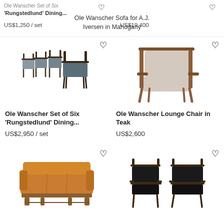Ole Wanscher Set of Six 'Rungstedlund' Dining...
US$1,250 / set
Ole Wanscher Sofa for A.J. Iversen in Mahogany
US$19,400
[Figure (photo): Ole Wanscher Set of Six Rungstedlund dining chairs with dark wood frames and blue upholstered seats]
Ole Wanscher Set of Six 'Rungstedlund' Dining...
US$2,950 / set
[Figure (photo): Ole Wanscher Lounge Chair in Teak with light cushions and wooden frame]
Ole Wanscher Lounge Chair in Teak
US$2,600
[Figure (photo): Ole Wanscher sofa in tan/caramel leather with wooden frame]
[Figure (photo): Pair of dark wood dining chairs with black leather seats]